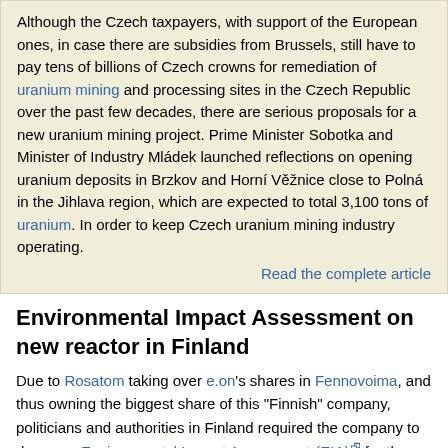Although the Czech taxpayers, with support of the European ones, in case there are subsidies from Brussels, still have to pay tens of billions of Czech crowns for remediation of uranium mining and processing sites in the Czech Republic over the past few decades, there are serious proposals for a new uranium mining project. Prime Minister Sobotka and Minister of Industry Mládek launched reflections on opening uranium deposits in Brzkov and Horní Věžnice close to Polná in the Jihlava region, which are expected to total 3,100 tons of uranium. In order to keep Czech uranium mining industry operating.
Read the complete article
Environmental Impact Assessment on new reactor in Finland
Due to Rosatom taking over e.on's shares in Fennovoima, and thus owning the biggest share of this "Finnish" company, politicians and authorities in Finland required the company to do a new Environmental Impact Assessment (EIA) for the proposed new reactor in Pyhäjoki. The significant changes in the ownership of Fennovoima as well as the massively changed size of the reactor and the different model to be used make it necessary to submit a completely new application, says the responsible Ministry of Employment and Economy, while the Ministries of Environment and of Foreign Affairs agree with this stance.
Currently, Fennovoima holds a decision-in-principle of the Finnish